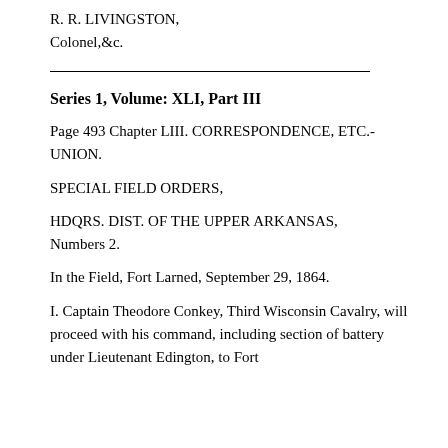R. R. LIVINGSTON,
Colonel,&c.
Series 1, Volume: XLI, Part III
Page 493 Chapter LIII. CORRESPONDENCE, ETC.-UNION.
SPECIAL FIELD ORDERS,
HDQRS. DIST. OF THE UPPER ARKANSAS,
Numbers 2.
In the Field, Fort Larned, September 29, 1864.
I. Captain Theodore Conkey, Third Wisconsin Cavalry, will proceed with his command, including section of battery under Lieutenant Edington, to Fort